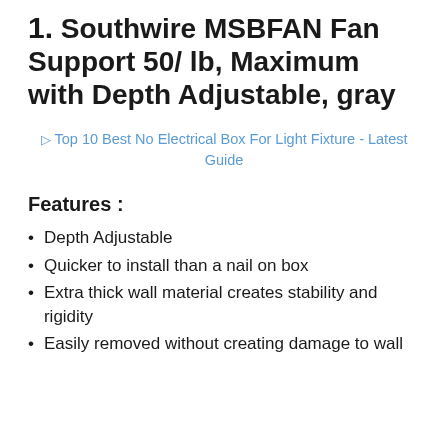1. Southwire MSBFAN Fan Support 50/ lb, Maximum with Depth Adjustable, gray
[Figure (other): Broken/missing image placeholder linking to 'Top 10 Best No Electrical Box For Light Fixture - Latest Guide']
Features :
Depth Adjustable
Quicker to install than a nail on box
Extra thick wall material creates stability and rigidity
Easily removed without creating damage to wall